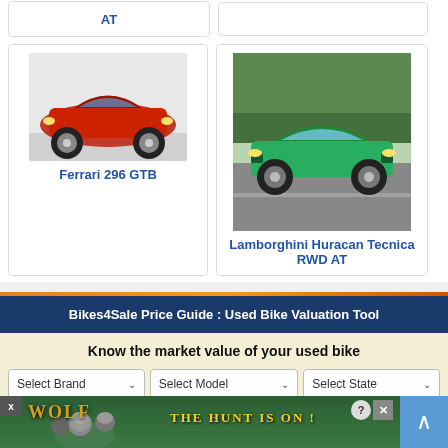AT
[Figure (photo): Red Ferrari 296 GTB sports car on white background]
Ferrari 296 GTB
[Figure (photo): Green Lamborghini Huracan Tecnica on road with trees in background]
Lamborghini Huracan Tecnica RWD AT
Bikes4Sale Price Guide : Used Bike Valuation Tool
Know the market value of your used bike
Select Brand
Select Model
Select State
2021
[Figure (photo): Advertisement banner: Wolf game with wolves and text THE HUNT IS ON!]